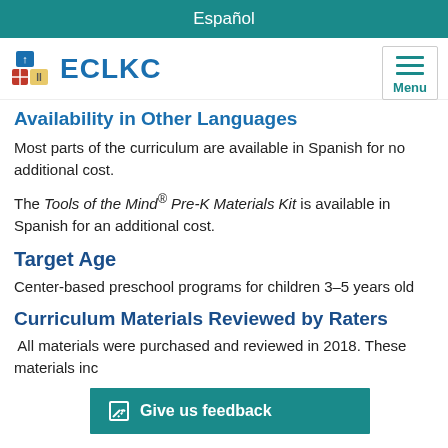Español
[Figure (logo): ECLKC logo with colorful building blocks and text ECLKC, plus hamburger Menu button]
Availability in Other Languages
Most parts of the curriculum are available in Spanish for no additional cost.
The Tools of the Mind® Pre-K Materials Kit is available in Spanish for an additional cost.
Target Age
Center-based preschool programs for children 3–5 years old
Curriculum Materials Reviewed by Raters
All materials were purchased and reviewed in 2018. These materials inc
Give us feedback